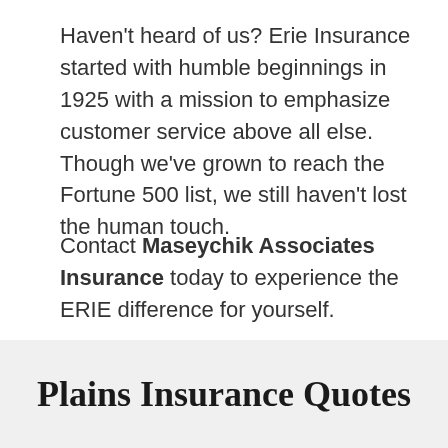Haven't heard of us? Erie Insurance started with humble beginnings in 1925 with a mission to emphasize customer service above all else. Though we've grown to reach the Fortune 500 list, we still haven't lost the human touch.
Contact Maseychik Associates Insurance today to experience the ERIE difference for yourself.
Plains Insurance Quotes